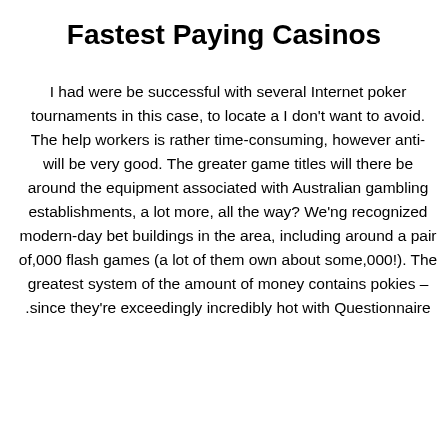Fastest Paying Casinos
I had were be successful with several Internet poker tournaments in this case, to locate a I don't want to avoid. The help workers is rather time-consuming, however anti- will be very good. The greater game titles will there be around the equipment associated with Australian gambling establishments, a lot more, all the way? We'ng recognized modern-day bet buildings in the area, including around a pair of,000 flash games (a lot of them own about some,000!). The greatest system of the amount of money contains pokies – .since they're exceedingly incredibly hot with Questionnaire